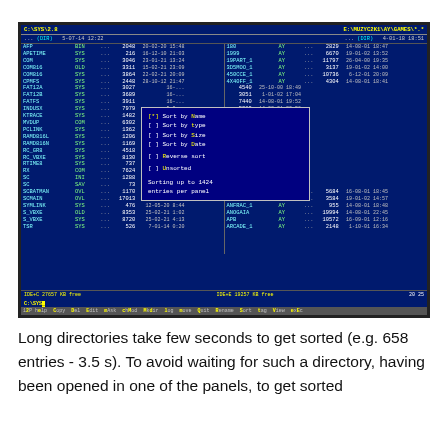[Figure (screenshot): A file manager screenshot (SprintZ) showing two panels with file listings and a sort dialog box in the middle. The sort dialog shows options: Sort by Name (selected), Sort by Type, Sort by Size, Sort by Date, Reverse sort, Unsorted, and 'Sorting up to 1424 entries per panel'.]
Long directories take few seconds to get sorted (e.g. 658 entries - 3.5 s). To avoid waiting for such a directory, having been opened in one of the panels, to get sorted